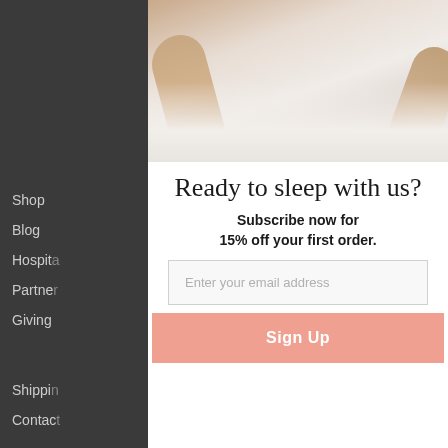[Figure (photo): Background webpage screenshot showing a dark navigation sidebar with menu items (Shop, Blog, Hospitality, Partners, Giving Back, Shipping, Contact) partially visible on the left, with a modal popup overlay in the center showing a photo of person's legs on white bed sheets at the top.]
Ready to sleep with us?
Subscribe now for 15% off your first order.
Enter your email address
Sign Up